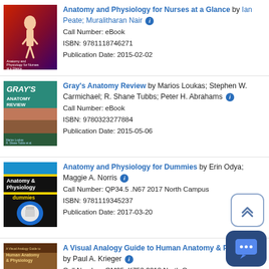[Figure (illustration): Book cover: Anatomy and Physiology for Nurses at a Glance - red/purple cover with human anatomy figure]
Anatomy and Physiology for Nurses at a Glance by Ian Peate; Muralitharan Nair
Call Number: eBook
ISBN: 9781118746271
Publication Date: 2015-02-02
[Figure (illustration): Book cover: Gray's Anatomy Review - teal cover with anatomical images]
Gray's Anatomy Review by Marios Loukas; Stephen W. Carmichael; R. Shane Tubbs; Peter H. Abrahams
Call Number: eBook
ISBN: 9780323277884
Publication Date: 2015-05-06
[Figure (illustration): Book cover: Anatomy and Physiology for Dummies - black/yellow cover with anatomical body diagram]
Anatomy and Physiology for Dummies by Erin Odya; Maggie A. Norris
Call Number: QP34.5 .N67 2017 North Campus
ISBN: 9781119345237
Publication Date: 2017-03-20
[Figure (illustration): Book cover: A Visual Analogy Guide to Human Anatomy & Physiology - brown/tan cover]
A Visual Analogy Guide to Human Anatomy & Physiology by Paul A. Krieger
Call Number: QM25 .K753 2013 North Campus